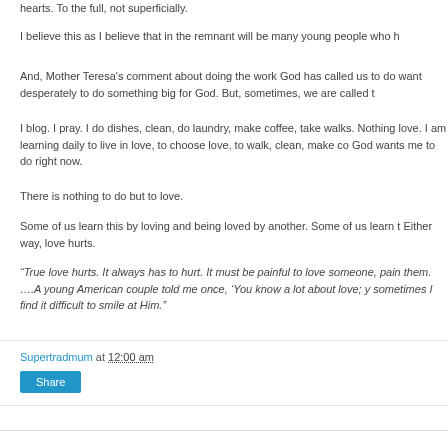hearts. To the full, not superficially.
I believe this as I believe that in the remnant will be many young people who h
And, Mother Teresa's comment about doing the work God has called us to do want desperately to do something big for God. But, sometimes, we are called t
I blog. I pray. I do dishes, clean, do laundry, make coffee, take walks. Nothing love. I am learning daily to live in love, to choose love, to walk, clean, make co God wants me to do right now.
There is nothing to do but to love.
Some of us learn this by loving and being loved by another. Some of us learn t Either way, love hurts.
“True love hurts. It always has to hurt. It must be painful to love someone, pain them. ….A young American couple told me once, ‘You know a lot about love; y sometimes I find it difficult to smile at Him.”
Supertradmum at 12:00 am
Share